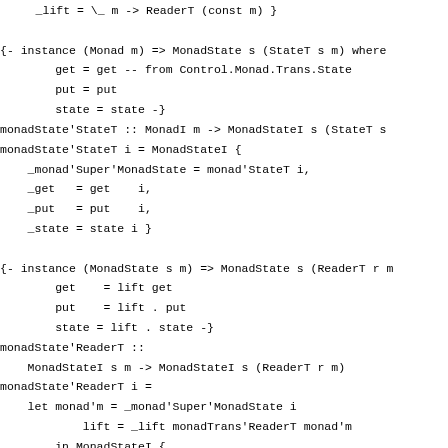_lift = \_ m -> ReaderT (const m) }

{- instance (Monad m) => MonadState s (StateT s m) where
        get = get -- from Control.Monad.Trans.State
        put = put
        state = state -}
monadState'StateT :: MonadI m -> MonadStateI s (StateT s
monadState'StateT i = MonadStateI {
    _monad'Super'MonadState = monad'StateT i,
    _get   = get    i,
    _put   = put    i,
    _state = state i }

{- instance (MonadState s m) => MonadState s (ReaderT r m
        get    = lift get
        put    = lift . put
        state = lift . state -}
monadState'ReaderT ::
    MonadStateI s m -> MonadStateI s (ReaderT r m)
monadState'ReaderT i =
    let monad'm = _monad'Super'MonadState i
            lift = _lift monadTrans'ReaderT monad'm
        in MonadStateI {
                _monad'Super'MonadState = monad'ReaderT monad
                _get    = lift $ _get    i,
                _put    = lift . _put    i,
                 state = lift .  state i }